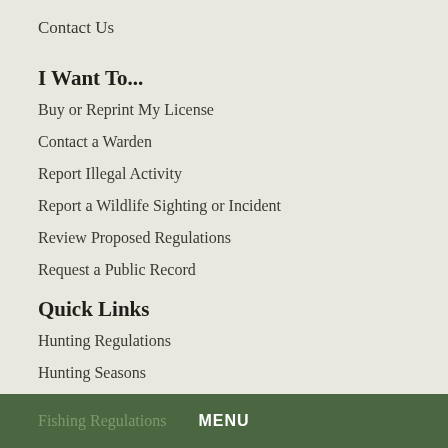Contact Us
I Want To...
Buy or Reprint My License
Contact a Warden
Report Illegal Activity
Report a Wildlife Sighting or Incident
Review Proposed Regulations
Request a Public Record
Quick Links
Hunting Regulations
Hunting Seasons
Fishing Regulations
MENU